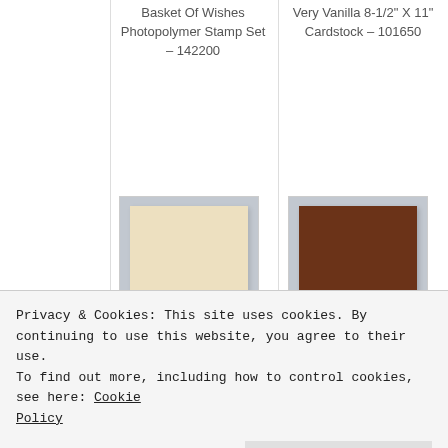Basket Of Wishes Photopolymer Stamp Set – 142200
Very Vanilla 8-1/2" X 11" Cardstock – 101650
[Figure (photo): Crumb Cake colored cardstock swatch on gray background]
Crumb Cake 8-1/2" X 11" Cardstock – 120953
[Figure (photo): Early Espresso dark brown colored cardstock swatch on gray background]
Early Espresso 8-1/2" X 11" Cardstock – 119686
Privacy & Cookies: This site uses cookies. By continuing to use this website, you agree to their use.
To find out more, including how to control cookies, see here: Cookie Policy
Close and accept
Cardstock – 101856
Cardstock – 131203